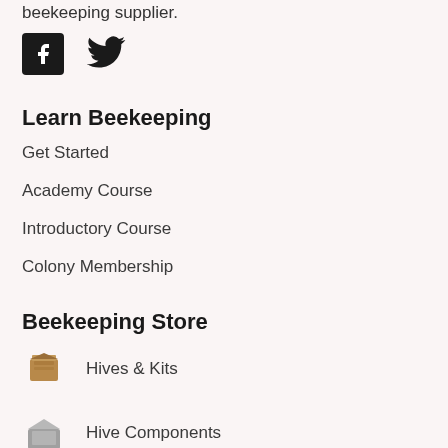beekeeping supplier.
[Figure (logo): Facebook logo icon (white f on black square) and Twitter bird logo]
Learn Beekeeping
Get Started
Academy Course
Introductory Course
Colony Membership
Beekeeping Store
Hives & Kits
Hive Components
Accessories & Tools